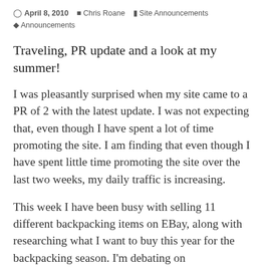April 8, 2010  Chris Roane  Site Announcements  Announcements
Traveling, PR update and a look at my summer!
I was pleasantly surprised when my site came to a PR of 2 with the latest update. I was not expecting that, even though I have spent a lot of time promoting the site. I am finding that even though I have spent little time promoting the site over the last two weeks, my daily traffic is increasing.
This week I have been busy with selling 11 different backpacking items on EBay, along with researching what I want to buy this year for the backpacking season. I'm debating on